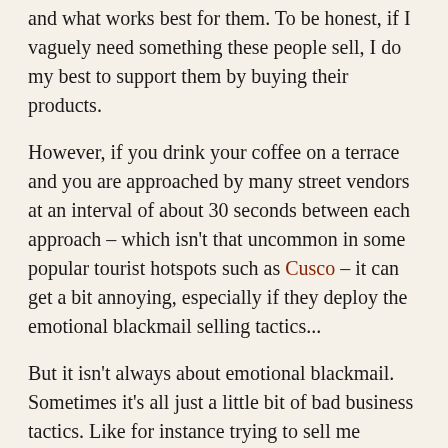and what works best for them. To be honest, if I vaguely need something these people sell, I do my best to support them by buying their products.
However, if you drink your coffee on a terrace and you are approached by many street vendors at an interval of about 30 seconds between each approach – which isn't that uncommon in some popular tourist hotspots such as Cusco – it can get a bit annoying, especially if they deploy the emotional blackmail selling tactics...
But it isn't always about emotional blackmail. Sometimes it's all just a little bit of bad business tactics. Like for instance trying to sell me sunglasses while I'm wearing a pair. Or the taxi drivers asking you if you need a taxi,